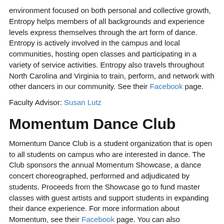environment focused on both personal and collective growth, Entropy helps members of all backgrounds and experience levels express themselves through the art form of dance. Entropy is actively involved in the campus and local communities, hosting open classes and participating in a variety of service activities. Entropy also travels throughout North Carolina and Virginia to train, perform, and network with other dancers in our community. See their Facebook page.
Faculty Advisor: Susan Lutz
Momentum Dance Club
Momentum Dance Club is a student organization that is open to all students on campus who are interested in dance. The Club sponsors the annual Momentum Showcase, a dance concert choreographed, performed and adjudicated by students. Proceeds from the Showcase go to fund master classes with guest artists and support students in expanding their dance experience. For more information about Momentum, see their Facebook page. You can also